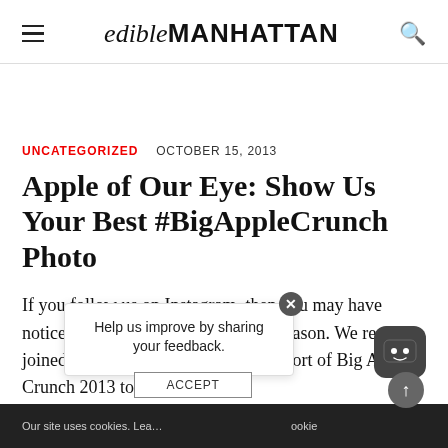edibleMANHATTAN
UNCATEGORIZED   OCTOBER 15, 2013
Apple of Our Eye: Show Us Your Best #BigAppleCrunch Photo
If you follow us on Instagram, then you may have noticed that we 're jazzed for apple season. We recently joined forces with GrowNYC in support of Big Apple Crunch 2013 to gath...
Our site uses cookies. Lea...   ...okie
Help us improve by sharing your feedback.